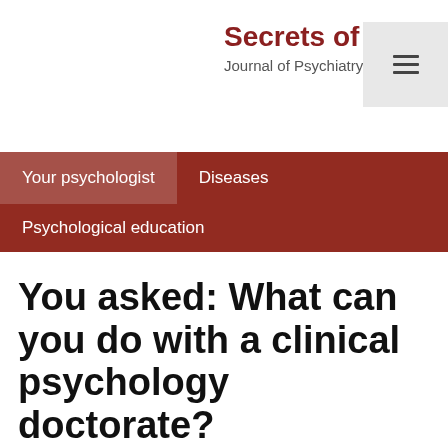Secrets of the subcon
Journal of Psychiatry and Psychology
Your psychologist
Diseases
Psychological education
You asked: What can you do with a clinical psychology doctorate?